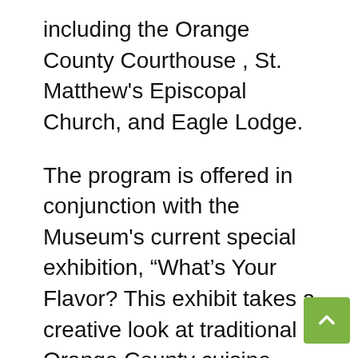including the Orange County Courthouse , St. Matthew's Episcopal Church, and Eagle Lodge.
The program is offered in conjunction with the Museum's current special exhibition, “What’s Your Flavor? This exhibit takes a creative look at traditional Orange County cuisine, proving that cooking is an art. It features information on how local people acquired and used ingredients in their cooking as well as culinary artefacts and works of art inspired by these artefacts. It is presented with the generous support of: Leland Little, Rick Ashby State Farm, family of Henrietta and Glenn Auman, National Endowment for the Humanities, North Carolina Humanities and the Town of Hillsborough Visitor Center.